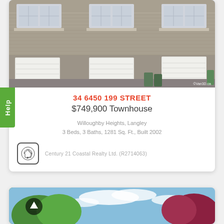[Figure (photo): Exterior photo of a row of townhouses with grey siding, white garage doors, and gabled roofs. Photo credit: ©Van3D.ca]
34 6450 199 STREET
$749,900 Townhouse
Willoughby Heights, Langley
3 Beds, 3 Baths, 1281 Sq. Ft., Built 2002
Century 21 Coastal Realty Ltd. (R2714063)
[Figure (photo): Partial view of a second listing card showing trees with green and red foliage against a blue sky with clouds, with an up-arrow navigation icon.]